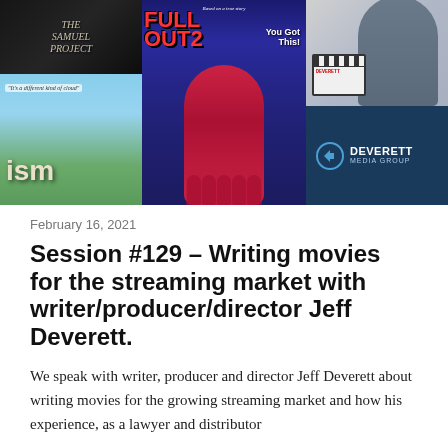[Figure (photo): Collage image showing three movie/film panels: left panel shows 'The Samuel Project' movie poster (top) and 'ism' movie poster (bottom) with 'It's a different kind of cloud' tagline; center panel shows 'Full Out 2 You Got This!' movie poster featuring a female gymnast in red leotard with a team of gymnasts below; right panel shows a man smiling holding a clapperboard with Deverett Media Group logo and branding in blue.]
February 16, 2021
Session #129 – Writing movies for the streaming market with writer/producer/director Jeff Deverett.
We speak with writer, producer and director Jeff Deverett about writing movies for the growing streaming market and how his experience, as a lawyer and distributor